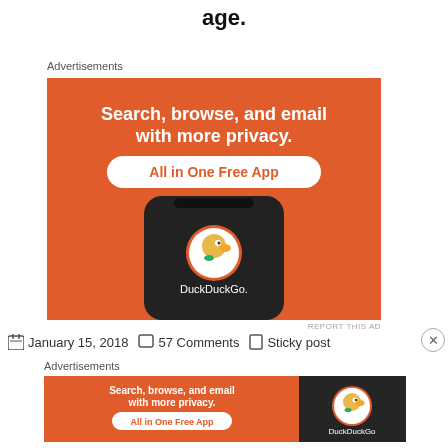age.
Advertisements
[Figure (screenshot): DuckDuckGo advertisement banner showing a smartphone with DuckDuckGo app. Orange background with white bold text: 'Search, browse, and email with more privacy.' and 'All in One Free App' button. DuckDuckGo logo and name visible on phone screen.]
REPORT THIS AD
January 15, 2018   57 Comments   Sticky post
Advertisements
[Figure (screenshot): DuckDuckGo advertisement banner (horizontal). Orange background with text 'Search, browse, and email with more privacy.' and 'All in One Free App' button on left. DuckDuckGo duck logo on dark right panel.]